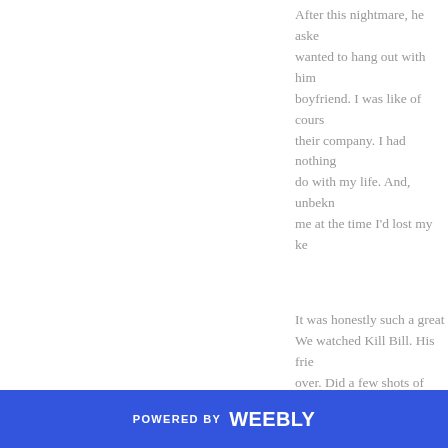After this nightmare, he asked if I wanted to hang out with him and his boyfriend. I was like of course I enjoy their company. I had nothing better to do with my life. And, unbeknownst to me at the time I'd lost my ke
It was honestly such a great time. We watched Kill Bill. His friends came over. Did a few shots of tequila as an innocent homosexual does but I had my tequila and enjoyed my refreshing glass of water. In the words of the boy who did six shots of tequila "I'm not drunk man! You don't even know me."
They played Super Mario S... Peach. I did a terrible job, b... second place. The thing I le... word "pussy" a lot. It was a b...
POWERED BY weebly